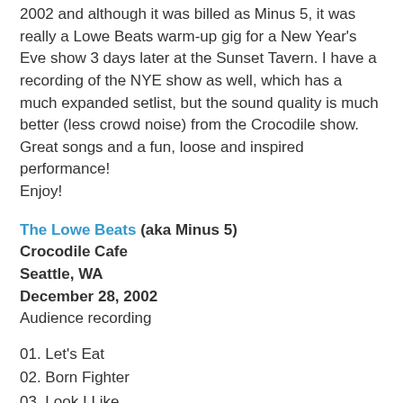2002 and although it was billed as Minus 5, it was really a Lowe Beats warm-up gig for a New Year's Eve show 3 days later at the Sunset Tavern. I have a recording of the NYE show as well, which has a much expanded setlist, but the sound quality is much better (less crowd noise) from the Crocodile show. Great songs and a fun, loose and inspired performance!
Enjoy!
The Lowe Beats (aka Minus 5)
Crocodile Cafe
Seattle, WA
December 28, 2002
Audience recording
01. Let's Eat
02. Born Fighter
03. Look I Like
04. Marie Provost
05. Crackin' Up
06. Lately I've Let Things Slide
07. Cruel To Be Kind